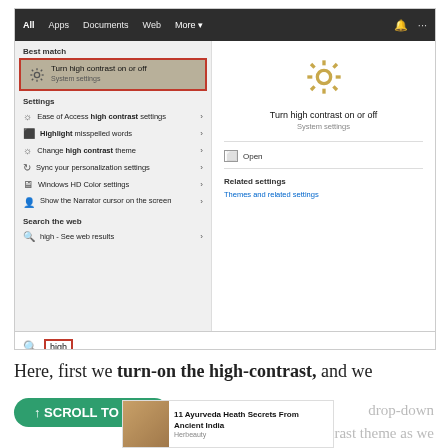[Figure (screenshot): Windows 10 search results showing 'Turn high contrast on or off' as best match, with settings list on left and detail panel on right. Search bar at bottom shows 'high' typed in with red border.]
Here, first we turn-on the high-contrast, and we
↑ SCROLL TO TOP
11 Ayurveda Heath Secrets From Ancient India - Herbeauty
drop-down
ule high contrast theme as we